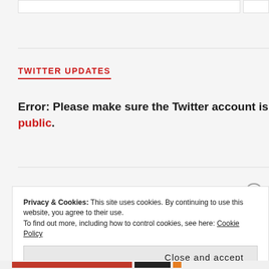TWITTER UPDATES
Error: Please make sure the Twitter account is public.
Privacy & Cookies: This site uses cookies. By continuing to use this website, you agree to their use.
To find out more, including how to control cookies, see here: Cookie Policy
Close and accept